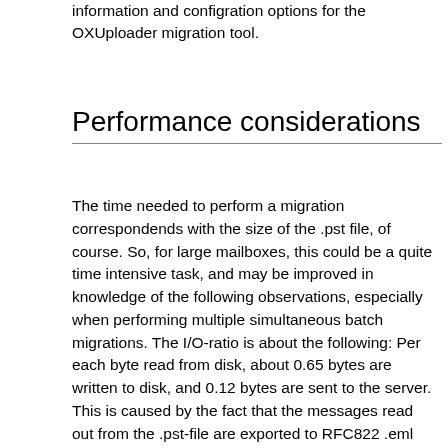information and configration options for the OXUploader migration tool.
Performance considerations
The time needed to perform a migration correspondends with the size of the .pst file, of course. So, for large mailboxes, this could be a quite time intensive task, and may be improved in knowledge of the following observations, especially when performing multiple simultaneous batch migrations. The I/O-ratio is about the following: Per each byte read from disk, about 0.65 bytes are written to disk, and 0.12 bytes are sent to the server. This is caused by the fact that the messages read out from the .pst-file are exported to RFC822 .eml files first, then those files are loaded again before finally sending them to the server. Therefore, the throughput of the local file system should be as fast as possible. Store in a way ...